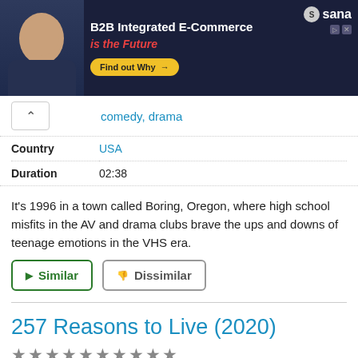[Figure (infographic): Advertisement banner for Sana B2B Integrated E-Commerce with man in dark shirt and yellow Find out Why button]
comedy, drama
| Country | USA |
| Duration | 02:38 |
It's 1996 in a town called Boring, Oregon, where high school misfits in the AV and drama clubs brave the ups and downs of teenage emotions in the VHS era.
▶ Similar
👎 Dissimilar
257 Reasons to Live (2020)
★★★★★★★★★★
[Figure (screenshot): Thumbnail strip showing video player with START button]